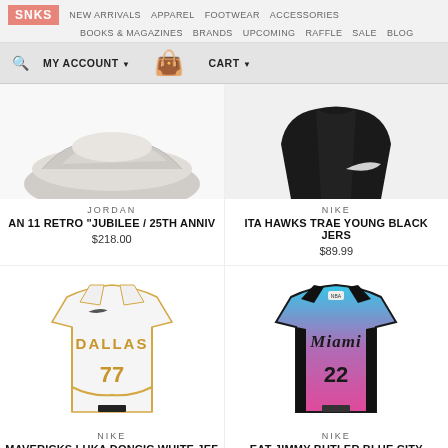SNKS | NEW ARRIVALS | APPAREL | FOOTWEAR | ACCESSORIES | BOOKS & MAGAZINES | BRANDS | UPCOMING | RAFFLE | SALE | BLOG
MY ACCOUNT | CART
[Figure (photo): Jordan Air Jordan 11 Retro Jubilee shoe (partially visible, top crop)]
[Figure (photo): Nike Atlanta Hawks Trae Young Black Jersey (partially visible, top crop)]
JORDAN
AN 11 RETRO "JUBILEE / 25TH ANNIV
$218.00
NIKE
ITA HAWKS TRAE YOUNG BLACK JERS
$89.99
[Figure (photo): Nike Dallas Mavericks Luka Doncic #77 white jersey with gold trim]
[Figure (photo): Nike Miami Heat Jimmy Butler #22 Blue City Edition jersey with pink-to-blue gradient]
NIKE
MAVERICKS LUKA DONCIC WHITE JEF
NIKE
EAT JIMMY BUTLER BLUE CITY EDITION